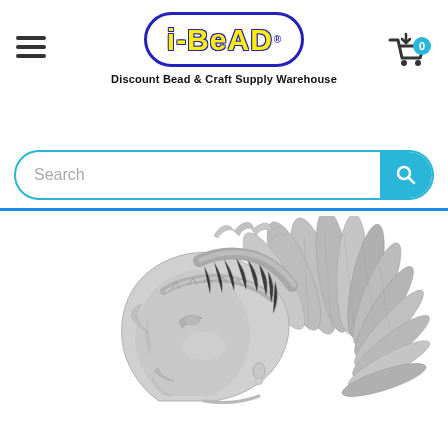[Figure (logo): i-BEAD logo inside a blue oval with yellow text. Tagline: Discount Bead & Craft Supply Warehouse]
[Figure (photo): Silver metallic relief of a Native American chief head wearing a feathered headdress, profile view facing left]